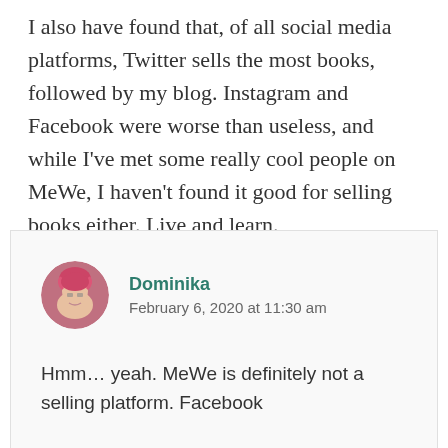I also have found that, of all social media platforms, Twitter sells the most books, followed by my blog. Instagram and Facebook were worse than useless, and while I've met some really cool people on MeWe, I haven't found it good for selling books either. Live and learn.
Dominika
February 6, 2020 at 11:30 am
Hmm… yeah. MeWe is definitely not a selling platform. Facebook